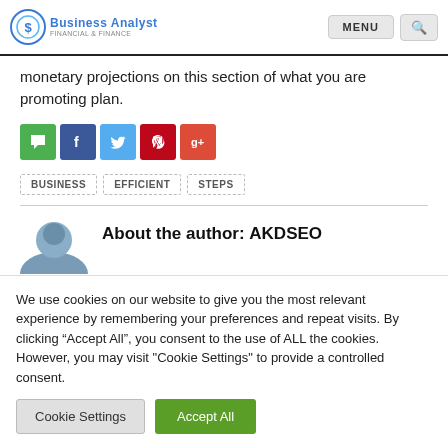Business Analyst | MENU | Search
monetary projections on this section of what you are promoting plan.
[Figure (other): Social share buttons: comment (green), Facebook (blue), Twitter (light blue), Pinterest (red), Google+ (orange-red)]
BUSINESS
EFFICIENT
STEPS
About the author: AKDSEO
We use cookies on our website to give you the most relevant experience by remembering your preferences and repeat visits. By clicking “Accept All”, you consent to the use of ALL the cookies. However, you may visit "Cookie Settings" to provide a controlled consent.
Cookie Settings | Accept All